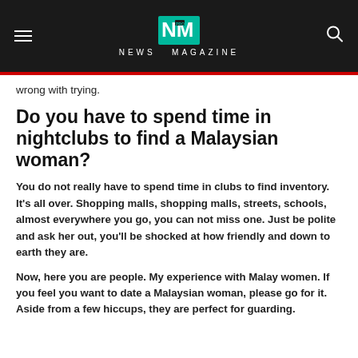NEWS MAGAZINE
wrong with trying.
Do you have to spend time in nightclubs to find a Malaysian woman?
You do not really have to spend time in clubs to find inventory. It's all over. Shopping malls, shopping malls, streets, schools, almost everywhere you go, you can not miss one. Just be polite and ask her out, you'll be shocked at how friendly and down to earth they are.
Now, here you are people. My experience with Malay women. If you feel you want to date a Malaysian woman, please go for it. Aside from a few hiccups, they are perfect for guarding.